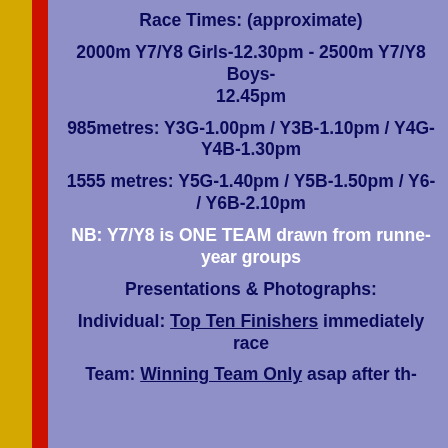Race Times: (approximate)
2000m Y7/Y8 Girls-12.30pm - 2500m Y7/Y8 Boys-12.45pm
985metres: Y3G-1.00pm / Y3B-1.10pm / Y4G-1.20pm / Y4B-1.30pm
1555 metres: Y5G-1.40pm / Y5B-1.50pm / Y6G-2.00pm / Y6B-2.10pm
NB: Y7/Y8 is ONE TEAM drawn from runners across both year groups
Presentations & Photographs:
Individual: Top Ten Finishers immediately after each race
Team: Winning Team Only asap after the last race